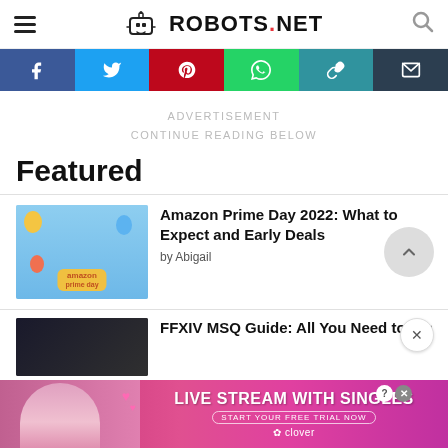ROBOTS.NET
[Figure (infographic): Social sharing bar with Facebook, Twitter, Pinterest, WhatsApp, copy link, and email buttons]
ADVERTISEMENT
CONTINUE READING BELOW
Featured
Amazon Prime Day 2022: What to Expect and Early Deals
by Abigail
FFXIV MSQ Guide: All You Need to Kno
[Figure (infographic): Bottom advertisement banner: LIVE STREAM WITH SINGLES — START YOUR FREE TRIAL NOW — clover logo]